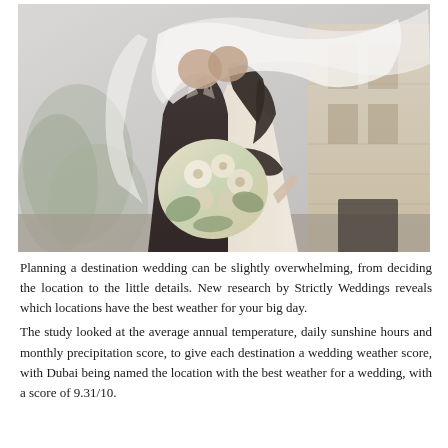[Figure (photo): Wedding couple kissing under a flowing white veil. The groom wears a dark suit with bow tie, the bride holds a large bouquet of white and cream flowers with greenery. Background shows a stone building and trees in mist.]
Planning a destination wedding can be slightly overwhelming, from deciding the location to the little details. New research by Strictly Weddings reveals which locations have the best weather for your big day.
The study looked at the average annual temperature, daily sunshine hours and monthly precipitation score, to give each destination a wedding weather score, with Dubai being named the location with the best weather for a wedding, with a score of 9.31/10.